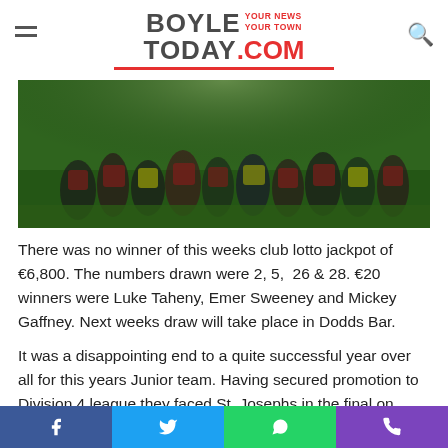BOYLE TODAY.COM — YOUR NEWS YOUR TOWN
[Figure (photo): Sports photo showing a group of rugby players huddled or celebrating on a grass field, taken at night or low light conditions.]
There was no winner of this weeks club lotto jackpot of €6,800. The numbers drawn were 2, 5,  26 & 28. €20 winners were Luke Taheny, Emer Sweeney and Mickey Gaffney. Next weeks draw will take place in Dodds Bar.
It was a disappointing end to a quite successful year over all for this years Junior team. Having secured promotion to Division 4 league they faced St. Josephs in the final on Saturday. Boyle had a big squad to pick from and started with